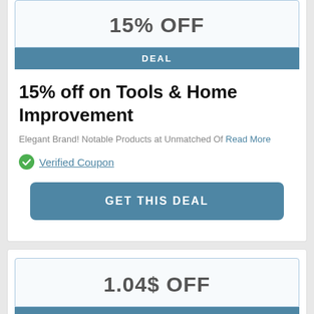15% OFF
DEAL
15% off on Tools & Home Improvement
Elegant Brand! Notable Products at Unmatched Of Read More
Verified Coupon
GET THIS DEAL
1.04$ OFF
OFFER